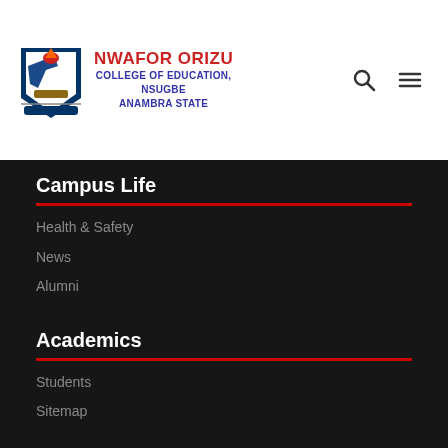NWAFOR ORIZU COLLEGE OF EDUCATION, NSUGBE ANAMBRA STATE
Campus Life
Health & Safety
News
Alumni
Academics
Students
Sitemap